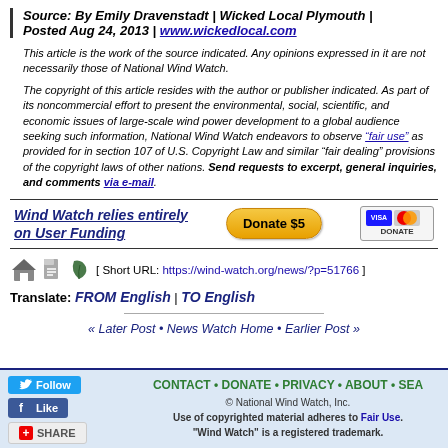Source: By Emily Dravenstadt | Wicked Local Plymouth | Posted Aug 24, 2013 | www.wickedlocal.com
This article is the work of the source indicated. Any opinions expressed in it are not necessarily those of National Wind Watch.
The copyright of this article resides with the author or publisher indicated. As part of its noncommercial effort to present the environmental, social, scientific, and economic issues of large-scale wind power development to a global audience seeking such information, National Wind Watch endeavors to observe "fair use" as provided for in section 107 of U.S. Copyright Law and similar "fair dealing" provisions of the copyright laws of other nations. Send requests to excerpt, general inquiries, and comments via e-mail.
[Figure (infographic): Wind Watch relies entirely on User Funding — Donate $5 button with Visa/Mastercard logo]
[ Short URL: https://wind-watch.org/news/?p=51766 ]
Translate: FROM English | TO English
« Later Post • News Watch Home • Earlier Post »
CONTACT • DONATE • PRIVACY • ABOUT • SEA... © National Wind Watch, Inc. Use of copyrighted material adheres to Fair Use. "Wind Watch" is a registered trademark.